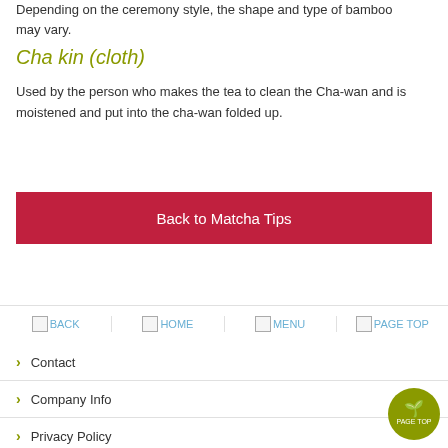Depending on the ceremony style, the shape and type of bamboo may vary.
Cha kin (cloth)
Used by the person who makes the tea to clean the Cha-wan and is moistened and put into the cha-wan folded up.
Back to Matcha Tips
BACK | HOME | MENU | PAGE TOP
Contact
Company Info
Privacy Policy